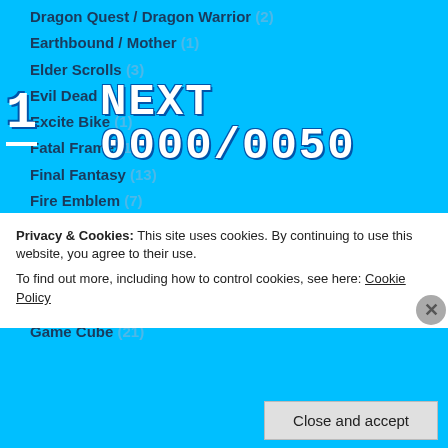Dragon Quest / Dragon Warrior (2)
Earthbound / Mother (1)
Elder Scrolls (3)
Evil Dead (2)
Excite Bike (1)
Fatal Frame (1)
Final Fantasy (13)
Fire Emblem (7)
Galaga (1)
Game Boy (8)
Game Boy Advance (13)
Game Boy Color (6)
Game Cube (21)
[Figure (screenshot): Score overlay showing NEXT 0000/0050 and number 1]
Privacy & Cookies: This site uses cookies. By continuing to use this website, you agree to their use. To find out more, including how to control cookies, see here: Cookie Policy
Close and accept